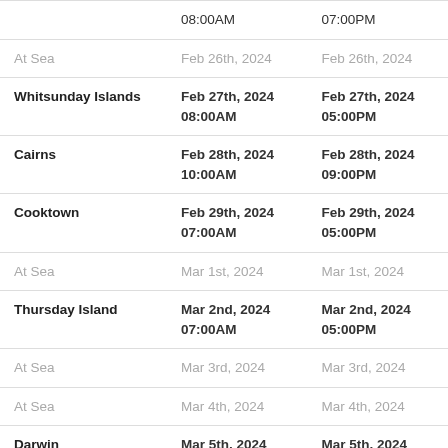| Port | Arrival | Departure |
| --- | --- | --- |
|  | 08:00AM | 07:00PM |
| At Sea | Feb 26th, 2024 | Feb 26th, 2024 |
| Whitsunday Islands | Feb 27th, 2024
08:00AM | Feb 27th, 2024
05:00PM |
| Cairns | Feb 28th, 2024
10:00AM | Feb 28th, 2024
09:00PM |
| Cooktown | Feb 29th, 2024
07:00AM | Feb 29th, 2024
05:00PM |
| At Sea | Mar 1st, 2024 | Mar 1st, 2024 |
| Thursday Island | Mar 2nd, 2024
07:00AM | Mar 2nd, 2024
05:00PM |
| At Sea | Mar 3rd, 2024 | Mar 3rd, 2024 |
| At Sea | Mar 4th, 2024 | Mar 4th, 2024 |
| Darwin | Mar 5th, 2024
07:00AM | Mar 5th, 2024
04:00PM |
| At Sea | Mar 6th, 2024 | Mar 6th, 2024 |